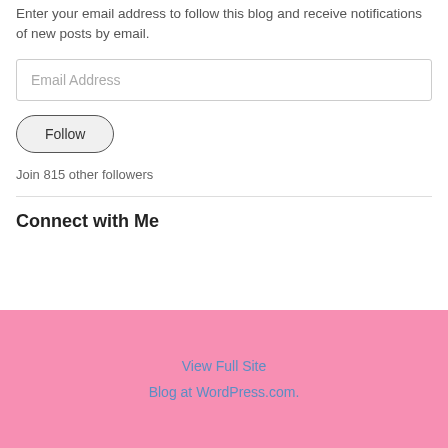Enter your email address to follow this blog and receive notifications of new posts by email.
Email Address
Follow
Join 815 other followers
Connect with Me
View Full Site
Blog at WordPress.com.